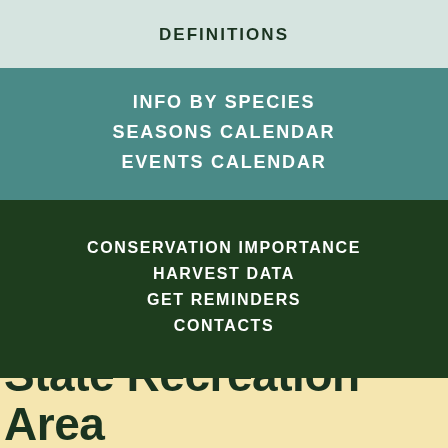DEFINITIONS
INFO BY SPECIES
SEASONS CALENDAR
EVENTS CALENDAR
CONSERVATION IMPORTANCE
HARVEST DATA
GET REMINDERS
CONTACTS
William W. Powers State Recreation Area